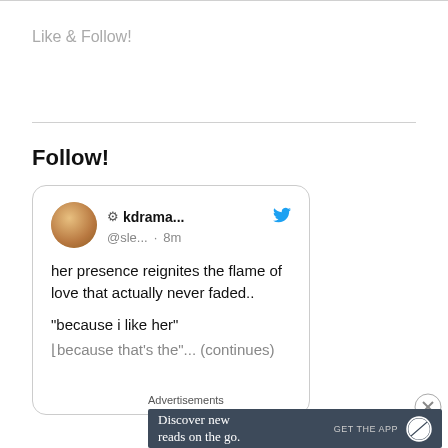Like & Follow!
Follow!
[Figure (screenshot): Embedded tweet card showing user 'kdrama...' @sle... · 8m with text: 'her presence reignites the flame of love that actually never faded.. "because i like her" (cut off text below)']
Advertisements
[Figure (infographic): Ad banner: dark background with text 'Discover new reads on the go.' and 'GET THE APP' with WordPress logo]